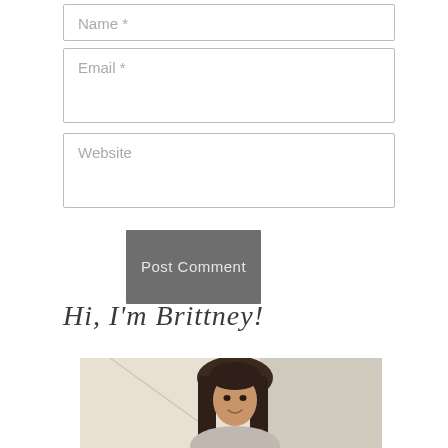[Figure (other): Web form input field with placeholder text 'Name *']
[Figure (other): Web form input field with placeholder text 'Email *']
[Figure (other): Web form input field with placeholder text 'Website']
[Figure (other): Button labeled 'Post Comment' with dark gray background]
Hi, I'm Brittney!
[Figure (photo): Photo of a woman with long dark hair, smiling, in a light-colored environment]